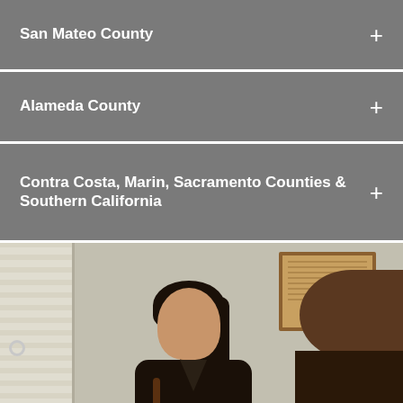San Mateo County +
Alameda County +
Contra Costa, Marin, Sacramento Counties & Southern California +
[Figure (photo): A young person with long dark hair pulled back, wearing a black sweater, sitting in an office chair during what appears to be a consultation or meeting. Another person is visible from the back in the right foreground. A corkboard with papers is visible on the wall in the background, along with window blinds on the left.]